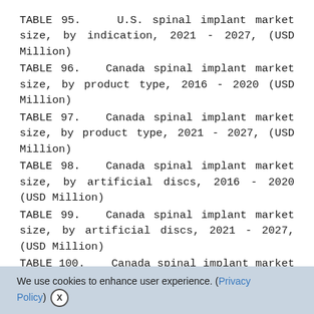TABLE 95.    U.S. spinal implant market size, by indication, 2021 - 2027, (USD Million)
TABLE 96.   Canada spinal implant market size, by product type, 2016 - 2020 (USD Million)
TABLE 97.   Canada spinal implant market size, by product type, 2021 - 2027, (USD Million)
TABLE 98.   Canada spinal implant market size, by artificial discs, 2016 - 2020 (USD Million)
TABLE 99.   Canada spinal implant market size, by artificial discs, 2021 - 2027, (USD Million)
TABLE 100.    Canada spinal implant market size, by spinal fusion implants, 2016 - 2020 (USD
We use cookies to enhance user experience. (Privacy Policy) X